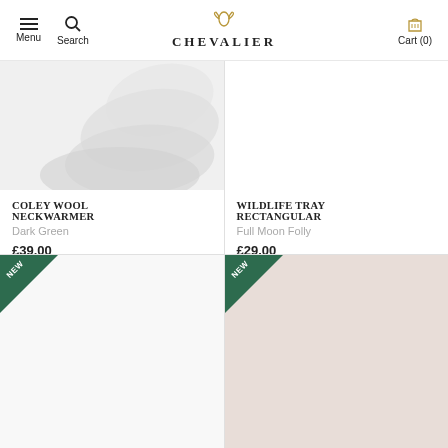Menu | Search | CHEVALIER | Cart (0)
[Figure (photo): White wool neckwarmer fabric close-up]
COLEY WOOL NECKWARMER
Dark Green
£39.00
[Figure (photo): White/blank product image for Wildlife Tray Rectangular]
WILDLIFE TRAY RECTANGULAR
Full Moon Folly
£29.00
[Figure (photo): Product with NEW badge, white background, bottom partially visible]
[Figure (photo): Product with NEW badge showing blurred person/model]